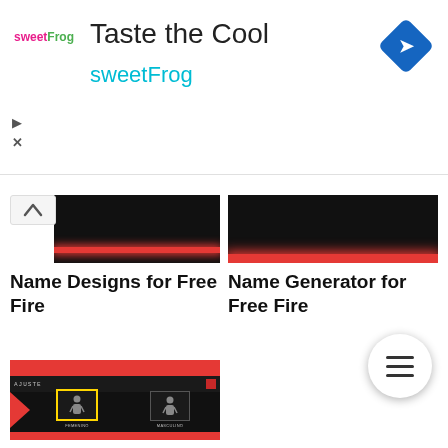[Figure (screenshot): Advertisement banner for sweetFrog frozen yogurt — logo, tagline 'Taste the Cool', brand name 'sweetFrog' in cyan, navigation icon (blue diamond with arrow) top right, play and close icons bottom left]
[Figure (screenshot): Thumbnail image with black background and a red glowing horizontal stripe near bottom, with a chevron/up arrow button overlay on left]
Name Designs for Free Fire
[Figure (screenshot): Thumbnail image with black background and a bright red glowing horizontal stripe]
Name Generator for Free Fire
[Figure (screenshot): Game screenshot showing Free Fire character creation screen with black/red theme, two character silhouettes labeled FEMENINO and MASCULINO, an input field, and CREAR button]
Chingones Names for Free Fire
[Figure (other): Hamburger menu button (three horizontal lines) in a white circle with shadow]